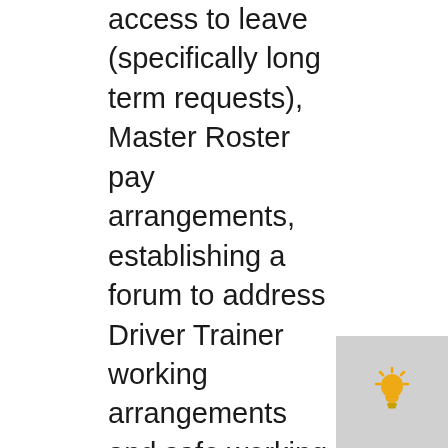access to leave (specifically long term requests), Master Roster pay arrangements, establishing a forum to address Driver Trainer working arrangements and safe working incident investigations.
In addition to these topics, the Taskforce dedicated much of the day to continuing to work through issues in the payroll space.
As previously reported, the Taskforce established a network wide payroll register to record and address payroll issues. Loco Division Reps and Sydney Trains Depot Managers reviewed this register monthly and have identified several topics which consistently remain unresolved.
Both the Locomotive Division and Sydney Trains have agreed to meet outside of the Drivers Issues Taskforce to work through these identified issues and provide recommendations